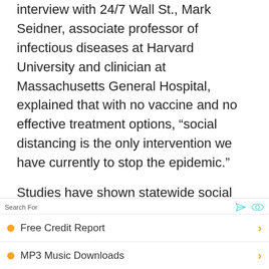interview with 24/7 Wall St., Mark Seidner, associate professor of infectious diseases at Harvard University and clinician at Massachusetts General Hospital, explained that with no vaccine and no effective treatment options, “social distancing is the only intervention we have currently to stop the epidemic.”
Studies have shown statewide social distancing measures to be associated with a decrease in U.S. COVID-19 growth. Many of
Search For
Free Credit Report
MP3 Music Downloads